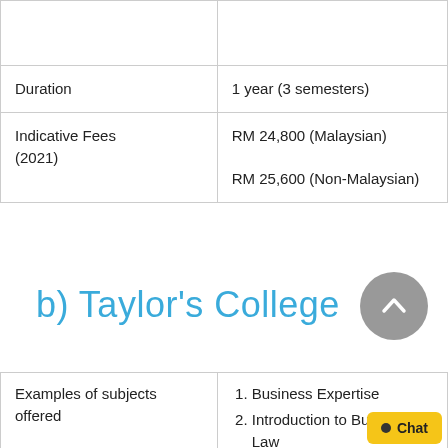|  |  |
| --- | --- |
|  |  |
| Duration | 1 year (3 semesters) |
| Indicative Fees (2021) | RM 24,800 (Malaysian)

RM 25,600 (Non-Malaysian) |
b) Taylor's College
| Examples of subjects offered |  |
| --- | --- |
| Examples of subjects offered | 1. Business Expertise
2. Introduction to Business Law
3. People and Organization |